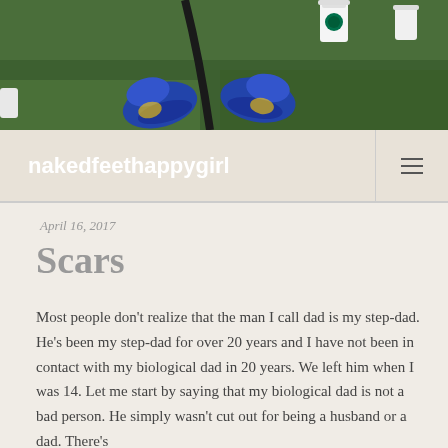[Figure (photo): Overhead view of feet wearing blue shoes on green grass, with a Starbucks cup and another cup visible]
nakedfeethappygirl
April 16, 2017
Scars
Most people don't realize that the man I call dad is my step-dad. He's been my step-dad for over 20 years and I have not been in contact with my biological dad in 20 years. We left him when I was 14. Let me start by saying that my biological dad is not a bad person. He simply wasn't cut out for being a husband or a dad. There's